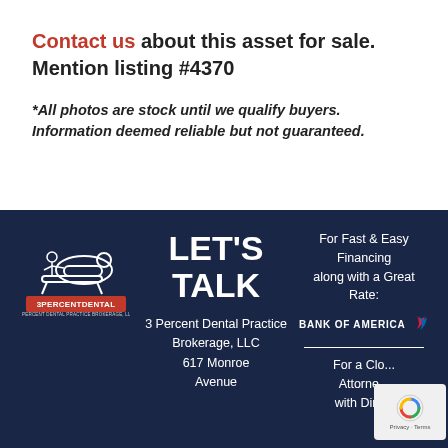Contact us about this asset for sale. Mention listing #4370
*All photos are stock until we qualify buyers. Information deemed reliable but not guaranteed.
[Figure (logo): 3 Percent Dental Practice Brokerage LLC logo showing a dental patient in a chair with a dentist figure and red text '3PERCENTDENTAL']
LET'S TALK
3 Percent Dental Practice Brokerage, LLC
617 Monroe Avenue
For Fast & Easy Financing along with a Great Rate: BANK OF AMERICA
For a Closing Attorney with Direct